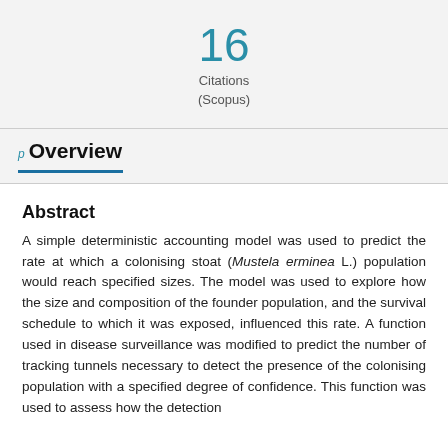16
Citations
(Scopus)
Overview
Abstract
A simple deterministic accounting model was used to predict the rate at which a colonising stoat (Mustela erminea L.) population would reach specified sizes. The model was used to explore how the size and composition of the founder population, and the survival schedule to which it was exposed, influenced this rate. A function used in disease surveillance was modified to predict the number of tracking tunnels necessary to detect the presence of the colonising population with a specified degree of confidence. This function was used to assess how the detection